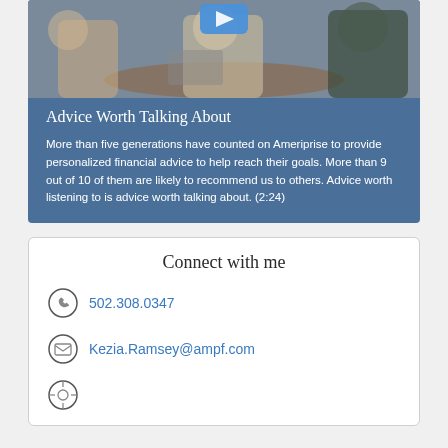[Figure (photo): Photo of people in a meeting at a round table with laptops, viewed from above. A blue play button overlay is visible at the top center.]
Advice Worth Talking About
More than five generations have counted on Ameriprise to provide personalized financial advice to help reach their goals. More than 9 out of 10 of them are likely to recommend us to others. Advice worth listening to is advice worth talking about. (2:24)
Connect with me
502.308.0347
Kezia.Ramsey@ampf.com